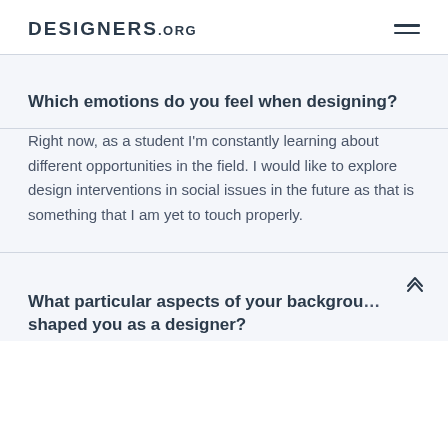DESIGNERS.ORG
Which emotions do you feel when designing?
Right now, as a student I'm constantly learning about different opportunities in the field. I would like to explore design interventions in social issues in the future as that is something that I am yet to touch properly.
What particular aspects of your background shaped you as a designer?